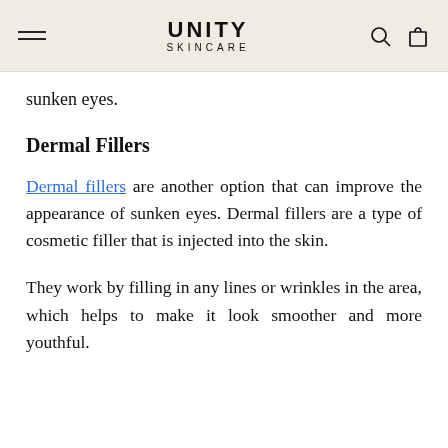UNITY SKINCARE
sunken eyes.
Dermal Fillers
Dermal fillers are another option that can improve the appearance of sunken eyes. Dermal fillers are a type of cosmetic filler that is injected into the skin.
They work by filling in any lines or wrinkles in the area, which helps to make it look smoother and more youthful.